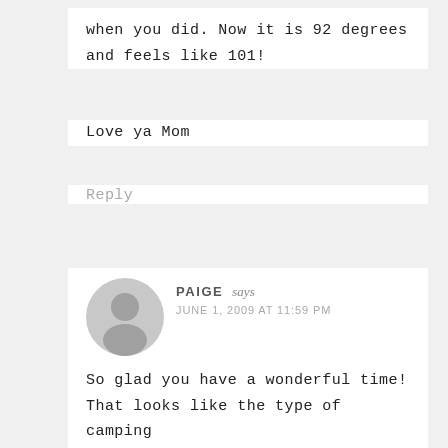when you did. Now it is 92 degrees and feels like 101!
Love ya Mom
Reply
PAIGE says
JUNE 1, 2009 AT 11:59 PM
So glad you have a wonderful time! That looks like the type of camping trip I would enjoy. = )